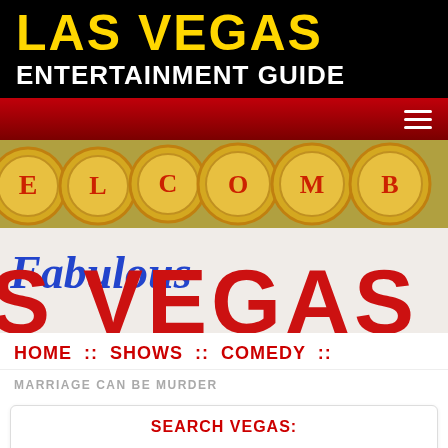LAS VEGAS ENTERTAINMENT GUIDE
[Figure (photo): Hero image showing Welcome to Fabulous Las Vegas sign with gold coins spelling WELCOME in the top portion, and large red text reading 'S VEGAS' below, with cursive blue 'Fabulous' text in the middle]
HOME :: SHOWS :: COMEDY ::
MARRIAGE CAN BE MURDER
SEARCH VEGAS:
SHOWS  HOTELS  ATTRACTIONS  TOURS